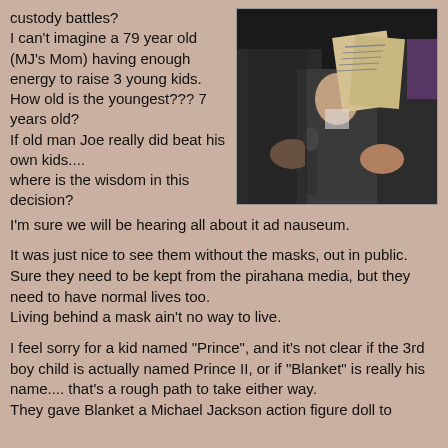custody battles?
I can't imagine a 79 year old (MJ's Mom) having enough energy to raise 3 young kids.
How old is the youngest??? 7 years old?
If old man Joe really did beat his own kids....
where is the wisdom in this decision?
[Figure (photo): Photo of people in black suits, one holding what appears to be a child wearing a mask, with newspapers or documents visible]
I'm sure we will be hearing all about it ad nauseum.
It was just nice to see them without the masks, out in public. Sure they need to be kept from the pirahana media, but they need to have normal lives too.
Living behind a mask ain't no way to live.
I feel sorry for a kid named "Prince", and it's not clear if the 3rd boy child is actually named Prince II, or if "Blanket" is really his name.... that's a rough path to take either way.
They gave Blanket a Michael Jackson action figure doll to